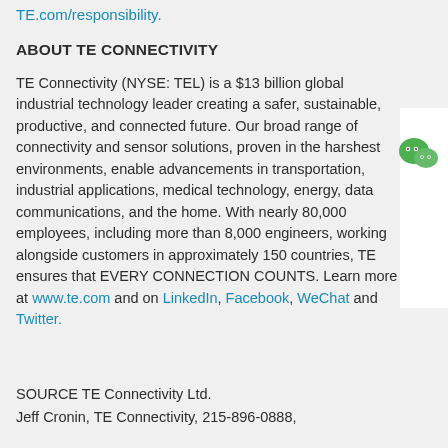TE.com/responsibility.
ABOUT TE CONNECTIVITY
TE Connectivity (NYSE: TEL) is a $13 billion global industrial technology leader creating a safer, sustainable, productive, and connected future. Our broad range of connectivity and sensor solutions, proven in the harshest environments, enable advancements in transportation, industrial applications, medical technology, energy, data communications, and the home. With nearly 80,000 employees, including more than 8,000 engineers, working alongside customers in approximately 150 countries, TE ensures that EVERY CONNECTION COUNTS. Learn more at www.te.com and on LinkedIn, Facebook, WeChat and Twitter.
[Figure (logo): WeChat green icon with two overlapping speech bubble circles]
SOURCE TE Connectivity Ltd.
Jeff Cronin, TE Connectivity, 215-896-0888,